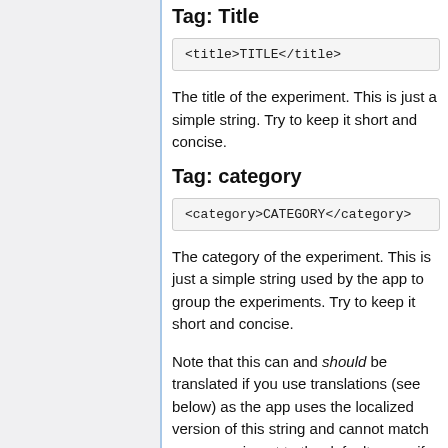Tag: Title
<title>TITLE</title>
The title of the experiment. This is just a simple string. Try to keep it short and concise.
Tag: category
<category>CATEGORY</category>
The category of the experiment. This is just a simple string used by the app to group the experiments. Try to keep it short and concise.
Note that this can and should be translated if you use translations (see below) as the app uses the localized version of this string and cannot match your experiment to the default group if the category is given in a different language.